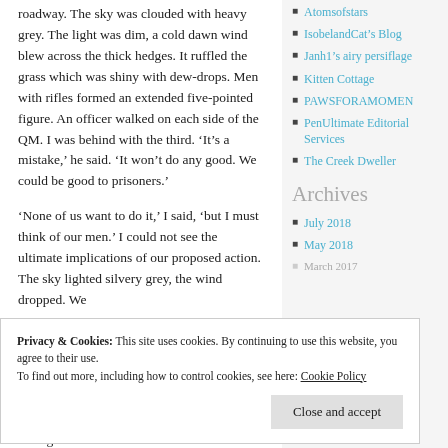roadway. The sky was clouded with heavy grey. The light was dim, a cold dawn wind blew across the thick hedges. It ruffled the grass which was shiny with dew-drops. Men with rifles formed an extended five-pointed figure. An officer walked on each side of the QM. I was behind with the third. ‘It’s a mistake,’ he said. ‘It won’t do any good. We could be good to prisoners.’
‘None of us want to do it,’ I said, ‘but I must think of our men.’ I could not see the ultimate implications of our proposed action. The sky lighted silvery grey, the wind dropped. We
Atomsofstars
IsobelandCat’s Blog
Janh1’s airy persiflage
Kitten Cottage
PAWSFORAMOMENT
PenUltimate Editorial Services
The Creek Dweller
Archives
July 2018
May 2018
Privacy & Cookies: This site uses cookies. By continuing to use this website, you agree to their use.
To find out more, including how to control cookies, see here: Cookie Policy
Close and accept
through the martial. It was one